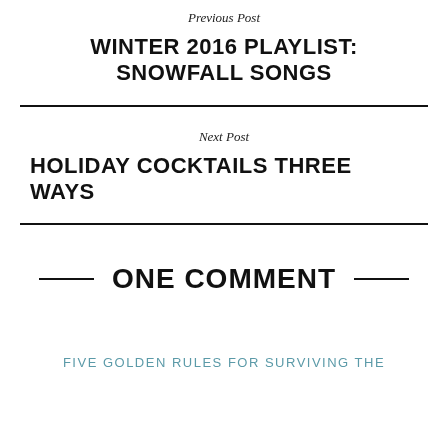Previous Post
WINTER 2016 PLAYLIST: SNOWFALL SONGS
Next Post
HOLIDAY COCKTAILS THREE WAYS
ONE COMMENT
FIVE GOLDEN RULES FOR SURVIVING THE